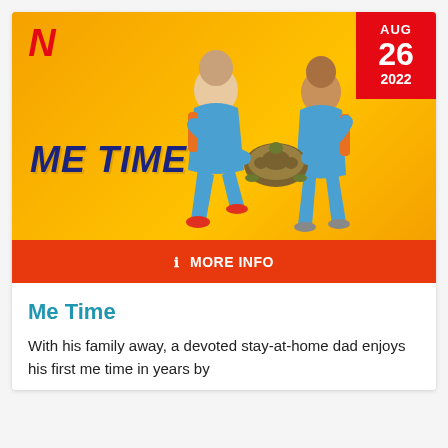[Figure (photo): Netflix movie promotional poster for 'Me Time' — yellow/orange background with two men in blue and orange tracksuits carrying a large tortoise. Netflix logo (red N) top left. Date badge top right: AUG 26 2022 on red background. Large italic dark blue 'ME TIME' title text on lower left of poster.]
ℹ MORE INFO
Me Time
With his family away, a devoted stay-at-home dad enjoys his first me time in years by